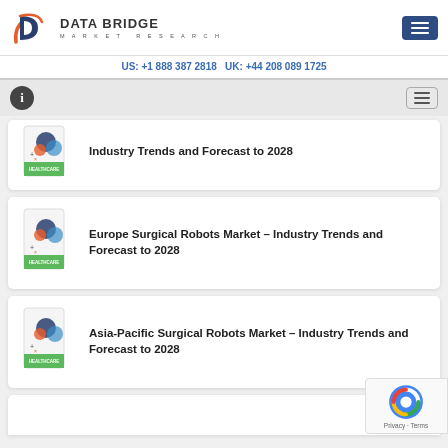[Figure (logo): Data Bridge Market Research logo with stylized 'b/d' icon in orange and dark blue]
US: +1 888 387 2818 UK: +44 208 089 1725
Industry Trends and Forecast to 2028
Europe Surgical Robots Market – Industry Trends and Forecast to 2028
Asia-Pacific Surgical Robots Market – Industry Trends and Forecast to 2028